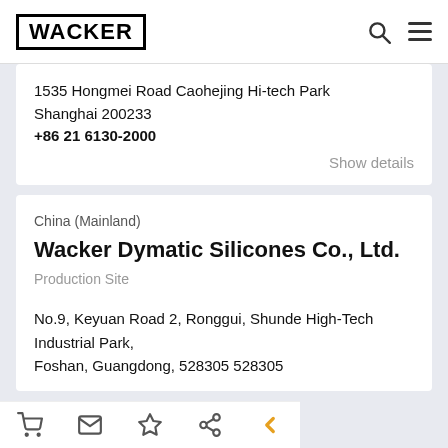WACKER
1535 Hongmei Road Caohejing Hi-tech Park
Shanghai 200233
+86 21 6130-2000
Show details
China (Mainland)
Wacker Dymatic Silicones Co., Ltd.
Production Site
No.9, Keyuan Road 2, Ronggui, Shunde High-Tech Industrial Park,
Foshan, Guangdong, 528305 528305
+86 757 2327 7988